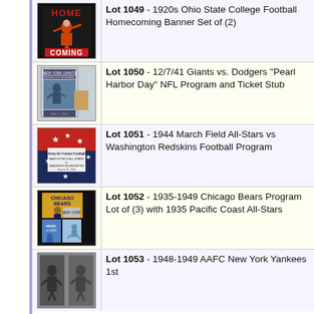[Figure (photo): 1920s Ohio State College Football Homecoming Banner image showing a football player figure and HOME COMING text]
Lot 1049 - 1920s Ohio State College Football Homecoming Banner Set of (2)
[Figure (photo): 12/7/41 Giants vs. Dodgers Pearl Harbor Day NFL Program and Ticket Stub]
Lot 1050 - 12/7/41 Giants vs. Dodgers "Pearl Harbor Day" NFL Program and Ticket Stub
[Figure (photo): 1944 March Field All-Stars vs Washington Redskins Football Program with red and blue star design]
Lot 1051 - 1944 March Field All-Stars vs Washington Redskins Football Program
[Figure (photo): 1935-1949 Chicago Bears Program Lot of 3 with 1935 Pacific Coast All-Stars]
Lot 1052 - 1935-1949 Chicago Bears Program Lot of (3) with 1935 Pacific Coast All-Stars
[Figure (photo): 1948-1949 AAFC New York Yankees football program]
Lot 1053 - 1948-1949 AAFC New York Yankees 1st